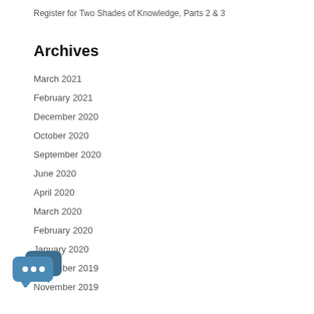Register for Two Shades of Knowledge, Parts 2 & 3
Archives
March 2021
February 2021
December 2020
October 2020
September 2020
June 2020
April 2020
March 2020
February 2020
January 2020
December 2019
November 2019
[Figure (illustration): Chat bubble icon with ellipsis (...)]